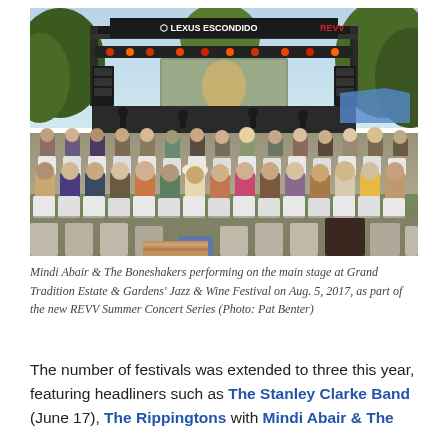[Figure (photo): Outdoor concert at Grand Tradition Estate & Gardens with audience seated in white chairs facing a large stage with Lexus Escondido REVV banner, screens, and lighting rigs, surrounded by trees.]
Mindi Abair & The Boneshakers performing on the main stage at Grand Tradition Estate & Gardens' Jazz & Wine Festival on Aug. 5, 2017, as part of the new REVV Summer Concert Series (Photo: Pat Benter)
The number of festivals was extended to three this year, featuring headliners such as The Stanley Clarke Band (June 17), The Rippingtons with Mindi Abair & The